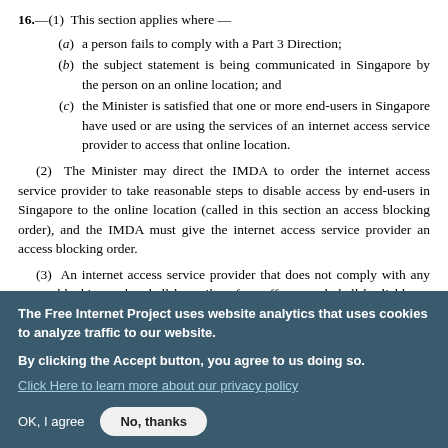16.—(1) This section applies where —
(a) a person fails to comply with a Part 3 Direction;
(b) the subject statement is being communicated in Singapore by the person on an online location; and
(c) the Minister is satisfied that one or more end-users in Singapore have used or are using the services of an internet access service provider to access that online location.
(2) The Minister may direct the IMDA to order the internet access service provider to take reasonable steps to disable access by end-users in Singapore to the online location (called in this section an access blocking order), and the IMDA must give the internet access service provider an access blocking order.
(3) An internet access service provider that does not comply with any access blocking order shall be guilty of an offence and shall be liable on conviction to a fine not exceeding $20,000 for each day during any part of which that order is not fully complied with, up to a
The Free Internet Project uses website analytics that uses cookies to analyze traffic to our website.
By clicking the Accept button, you agree to us doing so.
Click Here to learn more about our privacy policy
OK, I agree
No, thanks